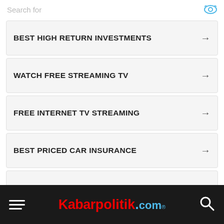Search for
BEST HIGH RETURN INVESTMENTS
WATCH FREE STREAMING TV
FREE INTERNET TV STREAMING
BEST PRICED CAR INSURANCE
BEST VITAMINS FOR ARTHRITIS
Ad | Business Focus
Kabarpolitik.com